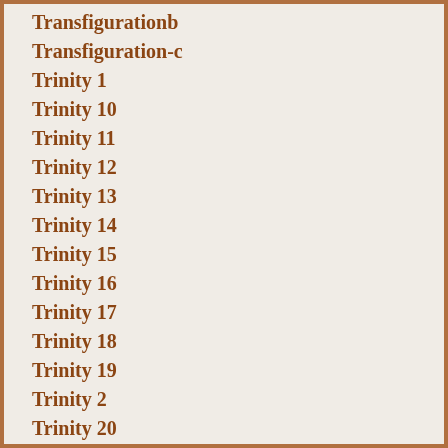Transfigurationb
Transfiguration-c
Trinity 1
Trinity 10
Trinity 11
Trinity 12
Trinity 13
Trinity 14
Trinity 15
Trinity 16
Trinity 17
Trinity 18
Trinity 19
Trinity 2
Trinity 20
Trinity 21
Trinity 22
Trinity 23
Trinity 3